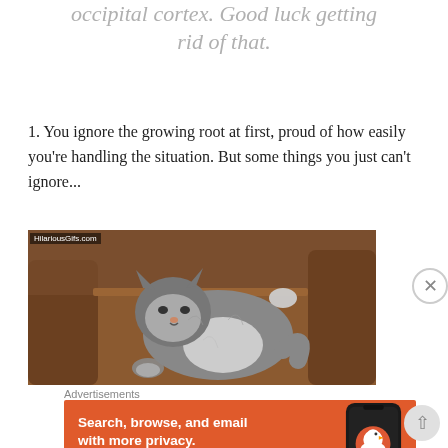occipital cortex. Good luck getting rid of that.
1. You ignore the growing root at first, proud of how easily you're handling the situation. But some things you just can't ignore...
[Figure (photo): A fluffy cat lying on its back on a brown sofa, with a watermark 'HilariousGifs.com' in the top-left corner.]
HilariousGifs.com
Advertisements
[Figure (infographic): DuckDuckGo advertisement banner with orange background. Text reads: 'Search, browse, and email with more privacy. All in One Free App' with a phone showing DuckDuckGo app and DuckDuckGo logo.]